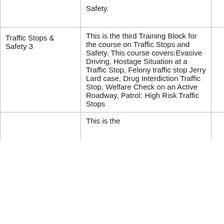|  | Safety. |  |
| Traffic Stops & Safety 3 | This is the third Training Block for the course on Traffic Stops and Safety. This course covers:Evasive Driving, Hostage Situation at a Traffic Stop, Felony traffic stop Jerry Lard case, Drug Interdiction Traffic Stop, Welfare Check on an Active Roadway, Patrol: High Risk Traffic Stops | 1h |
|  | This is the |  |